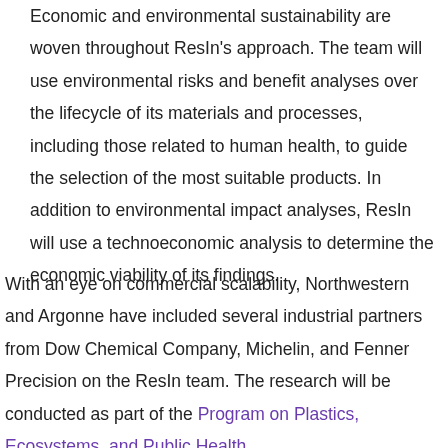Economic and environmental sustainability are woven throughout ResIn's approach. The team will use environmental risks and benefit analyses over the lifecycle of its materials and processes, including those related to human health, to guide the selection of the most suitable products. In addition to environmental impact analyses, ResIn will use a technoeconomic analysis to determine the economic viability of its findings.
With an eye on commercial scalability, Northwestern and Argonne have included several industrial partners from Dow Chemical Company, Michelin, and Fenner Precision on the ResIn team. The research will be conducted as part of the Program on Plastics, Ecosystems, and Public Health